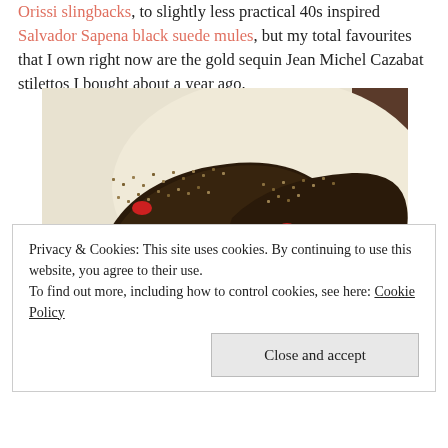Orissi slingbacks, to slightly less practical 40s inspired Salvador Sapena black suede mules, but my total favourites that I own right now are the gold sequin Jean Michel Cazabat stilettos I bought about a year ago.
[Figure (photo): A pair of dark gold/black sequined open-toe stiletto heels worn on a person's feet, resting on a white pillow. Red floral fabric visible at the bottom of the frame.]
Privacy & Cookies: This site uses cookies. By continuing to use this website, you agree to their use. To find out more, including how to control cookies, see here: Cookie Policy
Close and accept